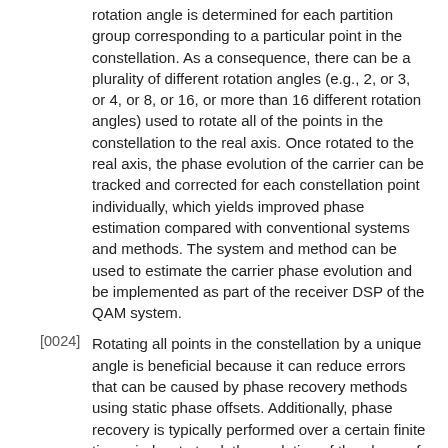rotation angle is determined for each partition group corresponding to a particular point in the constellation. As a consequence, there can be a plurality of different rotation angles (e.g., 2, or 3, or 4, or 8, or 16, or more than 16 different rotation angles) used to rotate all of the points in the constellation to the real axis. Once rotated to the real axis, the phase evolution of the carrier can be tracked and corrected for each constellation point individually, which yields improved phase estimation compared with conventional systems and methods. The system and method can be used to estimate the carrier phase evolution and be implemented as part of the receiver DSP of the QAM system.
[0024] Rotating all points in the constellation by a unique angle is beneficial because it can reduce errors that can be caused by phase recovery methods using static phase offsets. Additionally, phase recovery is typically performed over a certain finite time window to track the evolution of the phase of the carrier. Methods that rely on rotating groups of